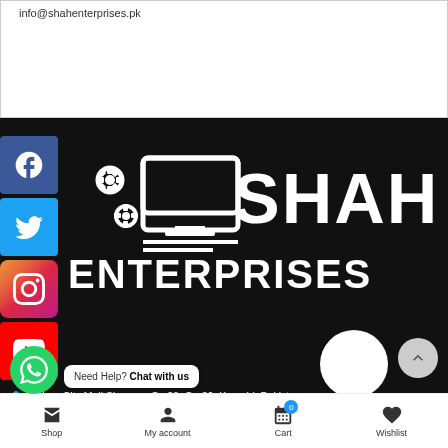info@shahenterprises.pk
[Figure (logo): Shah Enterprises logo with gears and monitor icon on black background, social media icons (Facebook, Twitter, Instagram, YouTube) on the left]
Techno City Mall Shop no, Gc.38, Ge.36, Karachi, Pakistan.
Mobile Number: 0308 3555423
Need Help? Chat with us
Shop | My account | Cart | Wishlist